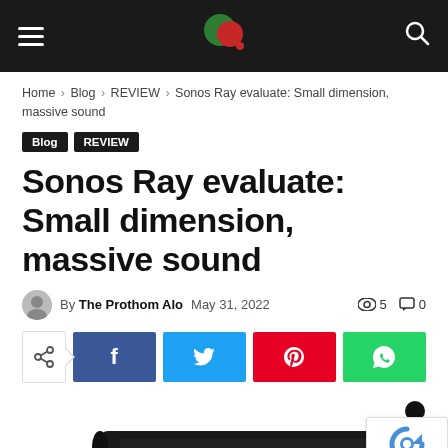Navigation bar with hamburger menu, logo, and search icon
Home › Blog › REVIEW › Sonos Ray evaluate: Small dimension, massive sound
Blog  REVIEW
Sonos Ray evaluate: Small dimension, massive sound
By The Prothom Alo  May 31, 2022  👁 5  💬 0
[Figure (other): Social share buttons: share icon, Facebook, Twitter, Pinterest, WhatsApp]
[Figure (photo): Partial photo of Sonos Ray soundbar product at bottom of page, with reCAPTCHA Privacy badge in bottom right corner]